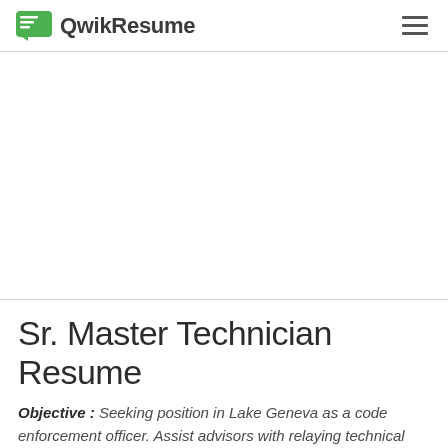QwikResume
Sr. Master Technician Resume
Objective : Seeking position in Lake Geneva as a code enforcement officer. Assist advisors with relaying technical information to customers. Mentor up-and-